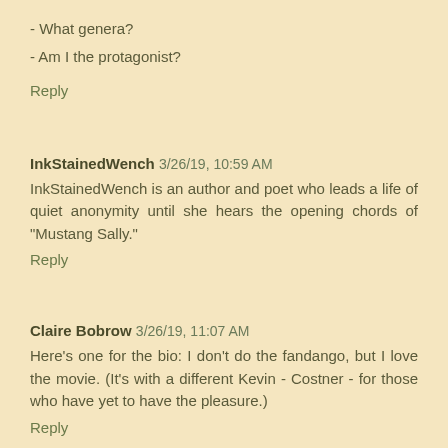- What genera?
- Am I the protagonist?
Reply
InkStainedWench 3/26/19, 10:59 AM
InkStainedWench is an author and poet who leads a life of quiet anonymity until she hears the opening chords of "Mustang Sally."
Reply
Claire Bobrow 3/26/19, 11:07 AM
Here's one for the bio: I don't do the fandango, but I love the movie. (It's with a different Kevin - Costner - for those who have yet to have the pleasure.)
Reply